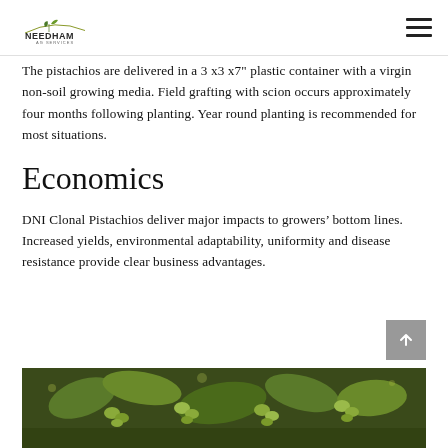Needham Ag Services
The pistachios are delivered in a 3 x3 x7" plastic container with a virgin non-soil growing media. Field grafting with scion occurs approximately four months following planting. Year round planting is recommended for most situations.
Economics
DNI Clonal Pistachios deliver major impacts to growers' bottom lines. Increased yields, environmental adaptability, uniformity and disease resistance provide clear business advantages.
[Figure (photo): Close-up photo of green pistachio nuts on a tree with leaves]